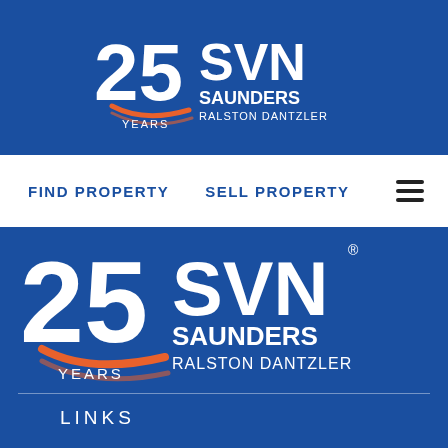[Figure (logo): SVN Saunders Ralston Dantzler 25 Years logo in white on dark blue background, header bar]
FIND PROPERTY   SELL PROPERTY
[Figure (logo): SVN Saunders Ralston Dantzler 25 Years logo in white, large version on blue background]
LINKS
Find Property
Listings
Catalogs
Sell With Us
Market